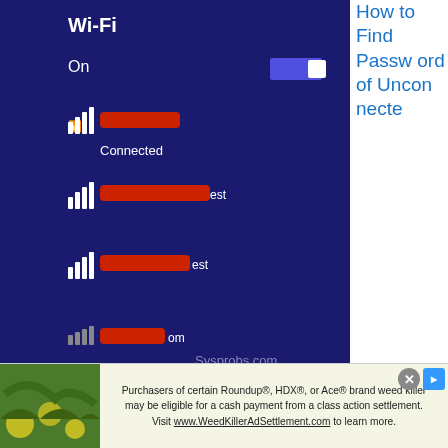[Figure (screenshot): Screenshot of Windows Wi-Fi settings screen showing Wi-Fi On toggle and list of networks including one Connected network, with signal bars and network names partially redacted in red. Sysprobs.com watermark visible.]
How to Find Password of Unconnected Wi-Fi on Windows 10/11
[Figure (illustration): Colorful illustration of multiple stylized cartoon faces/profiles on colored backgrounds (blue, green, teal, pink, orange, yellow, red), shown side by side in a strip.]
10 Redbubble Alternative Websites
Purchasers of certain Roundup®, HDX®, or Ace® brand weed killer may be eligible for a cash payment from a class action settlement. Visit www.WeedKillerAdSettlement.com to learn more.